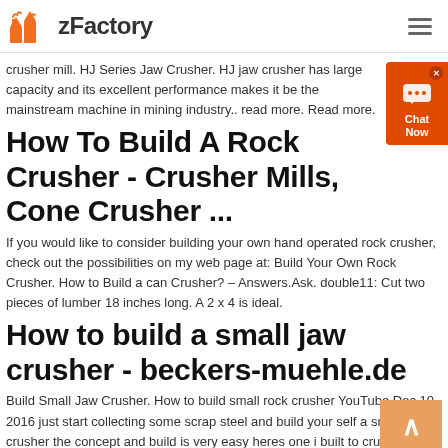zFactory
crusher mill. HJ Series Jaw Crusher. HJ jaw crusher has large capacity and its excellent performance makes it be the mainstream machine in mining industry.. read more. Read more.
How To Build A Rock Crusher - Crusher Mills, Cone Crusher ...
If you would like to consider building your own hand operated rock crusher, check out the possibilities on my web page at: Build Your Own Rock Crusher. How to Build a can Crusher? – Answers.Ask. double11: Cut two pieces of lumber 18 inches long. A 2 x 4 is ideal.
How to build a small jaw crusher - beckers-muehle.de
Build Small Jaw Crusher. How to build small rock crusher YouTube Dec 10 2016 just start collecting some scrap steel and build your self a small jaw crusher the concept and build is very easy heres one i built to crush rock